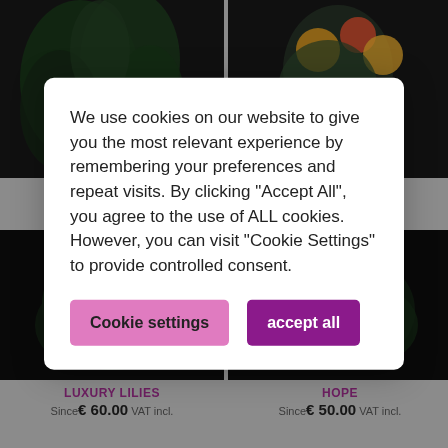[Figure (screenshot): E-commerce flower shop website with cookie consent modal overlay. Background shows four flower product cards in a 2x2 grid: WAKE UP (top-left), SUMMER BLAST (top-right), LUXURY LILIES (bottom-left, Since €60.00 VAT incl.), HOPE (bottom-right, Since €50.00 VAT incl.). A white cookie consent dialog covers the center of the page with text and two buttons.]
We use cookies on our website to give you the most relevant experience by remembering your preferences and repeat visits. By clicking "Accept All", you agree to the use of ALL cookies. However, you can visit "Cookie Settings" to provide controlled consent.
Cookie settings
accept all